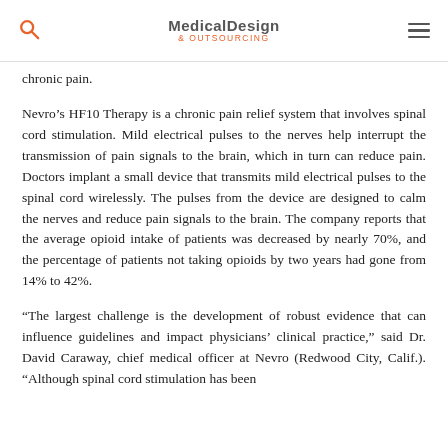Medical Design & Outsourcing
chronic pain.
Nevro's HF10 Therapy is a chronic pain relief system that involves spinal cord stimulation. Mild electrical pulses to the nerves help interrupt the transmission of pain signals to the brain, which in turn can reduce pain. Doctors implant a small device that transmits mild electrical pulses to the spinal cord wirelessly. The pulses from the device are designed to calm the nerves and reduce pain signals to the brain. The company reports that the average opioid intake of patients was decreased by nearly 70%, and the percentage of patients not taking opioids by two years had gone from 14% to 42%.
“The largest challenge is the development of robust evidence that can influence guidelines and impact physicians’ clinical practice,” said Dr. David Caraway, chief medical officer at Nevro (Redwood City, Calif.). “Although spinal cord stimulation has been